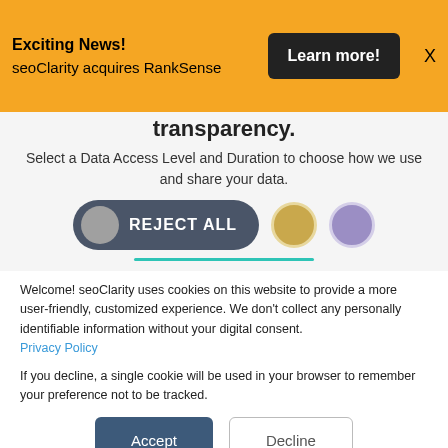Exciting News! seoClarity acquires RankSense
Learn more!
X
transparency.
Select a Data Access Level and Duration to choose how we use and share your data.
REJECT ALL
Welcome! seoClarity uses cookies on this website to provide a more user-friendly, customized experience. We don't collect any personally identifiable information without your digital consent.
Privacy Policy
If you decline, a single cookie will be used in your browser to remember your preference not to be tracked.
Accept
Decline